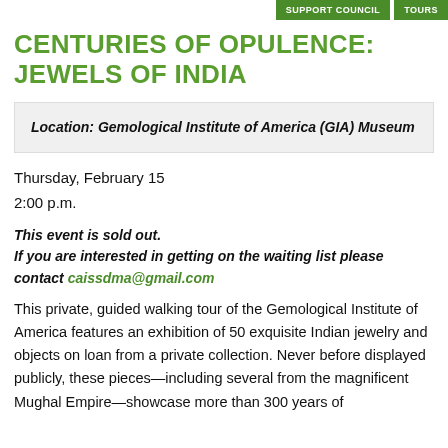SUPPORT COUNCIL    TOURS
CENTURIES OF OPULENCE: JEWELS OF INDIA
Location: Gemological Institute of America (GIA) Museum
Thursday, February 15
2:00 p.m.
This event is sold out.
If you are interested in getting on the waiting list please contact caissdma@gmail.com
This private, guided walking tour of the Gemological Institute of America features an exhibition of 50 exquisite Indian jewelry and objects on loan from a private collection. Never before displayed publicly, these pieces—including several from the magnificent Mughal Empire—showcase more than 300 years of